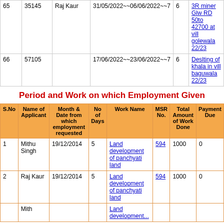| S.No | MSR No. | Name | Date | Days | Work Name |
| --- | --- | --- | --- | --- | --- |
| 65 | 35145 | Raj Kaur | 31/05/2022~~06/06/2022~~7 | 6 | 3R miner Glw RD 50to 42700 at vill golewala 22/23 |
| 66 | 57105 |  | 17/06/2022~~23/06/2022~~7 | 6 | Deslting of khala in vill baguwala 22/23 |
Period and Work on which Employment Given
| S.No | Name of Applicant | Month & Date from which employment requested | No of Days | Work Name | MSR No. | Total Amount of Work Done | Payment Due |
| --- | --- | --- | --- | --- | --- | --- | --- |
| 1 | Mithu Singh | 19/12/2014 | 5 | Land development of panchyati land | 594 | 1000 | 0 |
| 2 | Raj Kaur | 19/12/2014 | 5 | Land development of panchyati land | 594 | 1000 | 0 |
|  | Mith... |  |  | Land development... |  |  |  |